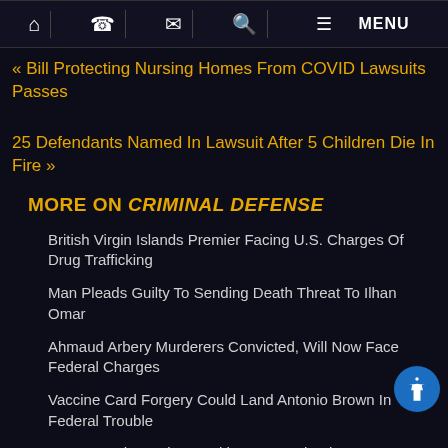Home | Phone | Email | Search | MENU
« Bill Protecting Nursing Homes From COVID Lawsuits Passes
25 Defendants Named In Lawsuit After 5 Children Die In Fire »
MORE ON CRIMINAL DEFENSE
British Virgin Islands Premier Facing U.S. Charges Of Drug Trafficking
Man Pleads Guilty To Sending Death Threat To Ilhan Omar
Ahmaud Arbery Murderers Convicted, Will Now Face Federal Charges
Vaccine Card Forgery Could Land Antonio Brown In Federal Trouble
Two Men Charged In Healthcare Fraud Scheme